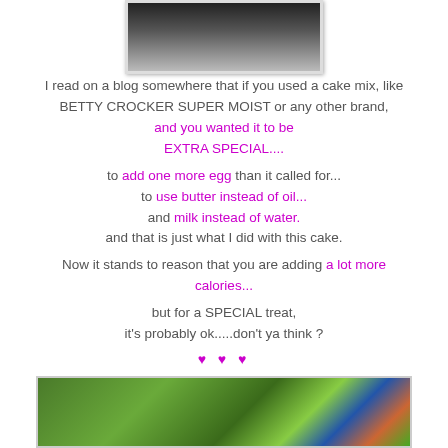[Figure (photo): Top portion of a photo showing what appears to be food items on a dark background]
I read on a blog somewhere that if you used a cake mix, like BETTY CROCKER SUPER MOIST or any other brand, and you wanted it to be EXTRA SPECIAL....
to add one more egg than it called for... to use butter instead of oil... and milk instead of water. and that is just what I did with this cake.
Now it stands to reason that you are adding a lot more calories...
but for a SPECIAL treat, it's probably ok.....don't ya think ?
♥ ♥ ♥
[Figure (photo): Bottom photo showing green plants/leaves with colorful background including orange and blue elements]